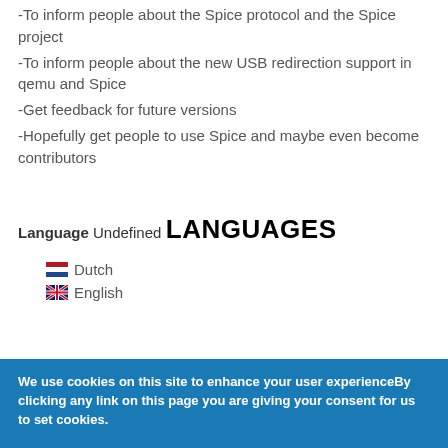-To inform people about the Spice protocol and the Spice project
-To inform people about the new USB redirection support in qemu and Spice
-Get feedback for future versions
-Hopefully get people to use Spice and maybe even become contributors
Language Undefined
LANGUAGES
Dutch
English
We use cookies on this site to enhance your user experienceBy clicking any link on this page you are giving your consent for us to set cookies.